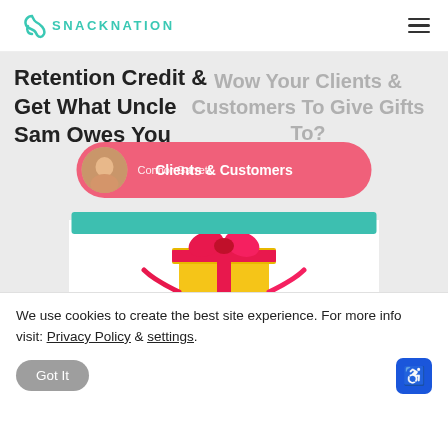SNACKNATION
Retention Credit & Get What Uncle Sam Owes You
Wow Your Clients & Customers To Give Gifts To?
Clients & Customers
Connor Garrett
[Figure (illustration): Yellow gift box with pink ribbon bow]
We use cookies to create the best site experience. For more info visit: Privacy Policy & settings.
Got It